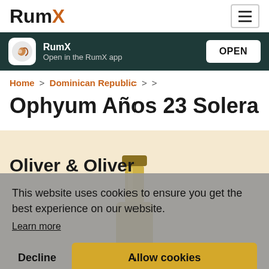RumX
RumX
Open in the RumX app
OPEN
Home > Dominican Republic > >
Ophyum Años 23 Solera Oliver & Oliver
This website uses cookies to ensure you get the best experience on our website.
Learn more
Decline
Allow cookies
[Figure (photo): Bottom of a rum bottle with golden capsule, partially visible against a cream/beige background]